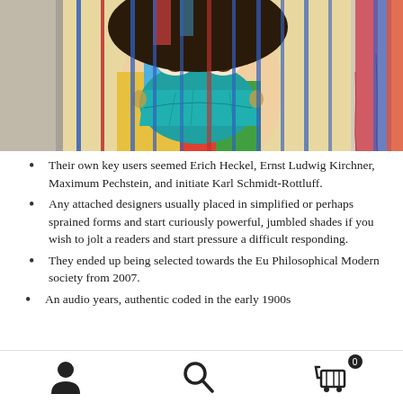[Figure (photo): Colorful street art mural of a face wearing a teal surgical mask, with vertical bars in red, blue, and other colors overlaid on the image.]
Their own key users seemed Erich Heckel, Ernst Ludwig Kirchner, Maximum Pechstein, and initiate Karl Schmidt-Rottluff.
Any attached designers usually placed in simplified or perhaps sprained forms and start curiously powerful, jumbled shades if you wish to jolt a readers and start pressure a difficult responding.
They ended up being selected towards the Eu Philosophical Modern society from 2007.
An audio years, authentic coded in the early 1900s